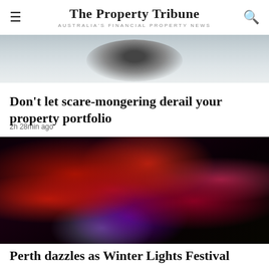The Property Tribune — AUSTRALIA'S FINANCIAL PROPERTY NEWS
[Figure (photo): Partial blurred grayscale photo, top portion of an article image]
Don't let scare-mongering derail your property portfolio
2h 28min ago
[Figure (photo): Dark photo with colorful red and pink neon light sculptures against a black background — Winter Lights Festival]
Perth dazzles as Winter Lights Festival